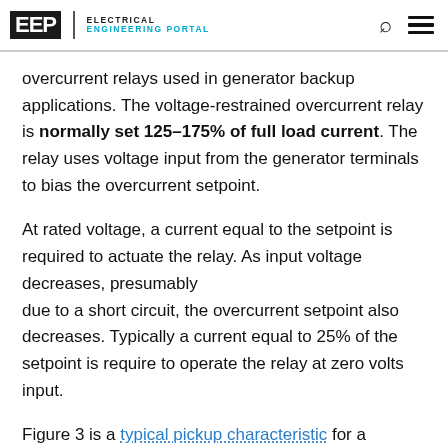EEP | ELECTRICAL ENGINEERING PORTAL
overcurrent relays used in generator backup applications. The voltage-restrained overcurrent relay is normally set 125–175% of full load current. The relay uses voltage input from the generator terminals to bias the overcurrent setpoint.
At rated voltage, a current equal to the setpoint is required to actuate the relay. As input voltage decreases, presumably due to a short circuit, the overcurrent setpoint also decreases. Typically a current equal to 25% of the setpoint is require to operate the relay at zero volts input.
Figure 3 is a typical pickup characteristic for a voltage-restrained relay.